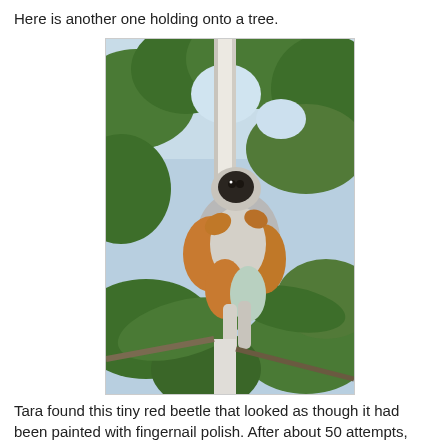Here is another one holding onto a tree.
[Figure (photo): A lemur (likely a sifaka) clinging to a thin white tree trunk, viewed from below. The animal has a gray and orange/tan body with a dark face, surrounded by green tropical foliage and bright sky.]
Tara found this tiny red beetle that looked as though it had been painted with fingernail polish. After about 50 attempts,